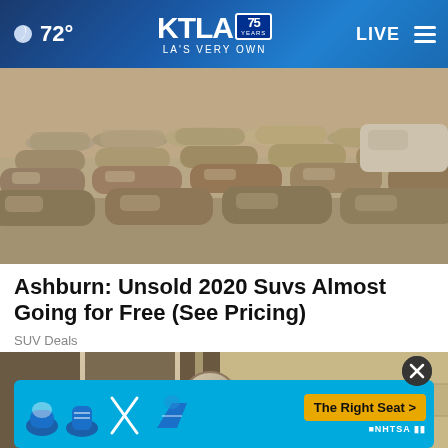72° KTLA 75 YEARS LA'S VERY OWN LIVE
[Figure (photo): Aerial view of a large parking lot filled with rows of dust-covered unsold cars]
Ashburn: Unsold 2020 Suvs Almost Going for Free (See Pricing)
SUV Deals
[Figure (photo): Close-up photo of a door knob with foil wrapping]
[Figure (infographic): NHTSA advertisement banner: The Right Seat > with car seat safety icons on a blue background]